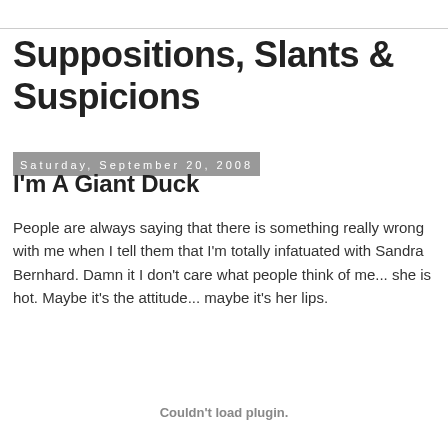Suppositions, Slants & Suspicions
Saturday, September 20, 2008
I'm A Giant Duck
People are always saying that there is something really wrong with me when I tell them that I'm totally infatuated with Sandra Bernhard. Damn it I don't care what people think of me... she is hot. Maybe it's the attitude... maybe it's her lips.
Couldn't load plugin.